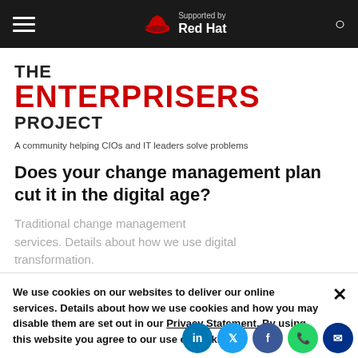Supported by Red Hat
THE ENTERPRISERS PROJECT
A community helping CIOs and IT leaders solve problems
Does your change management plan cut it in the digital age?
Traditional change management services. Details about how we use digital transformation. think two ke approach
We use cookies on our websites to deliver our online services. Details about how we use cookies and how you may disable them are set out in our Privacy Statement. By using this website you agree to our use of cookies.